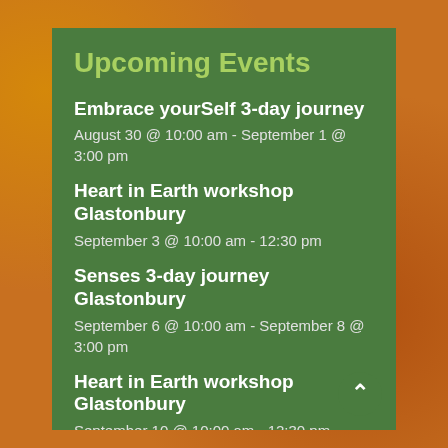Upcoming Events
Embrace yourSelf 3-day journey
August 30 @ 10:00 am - September 1 @ 3:00 pm
Heart in Earth workshop Glastonbury
September 3 @ 10:00 am - 12:30 pm
Senses 3-day journey Glastonbury
September 6 @ 10:00 am - September 8 @ 3:00 pm
Heart in Earth workshop Glastonbury
September 10 @ 10:00 am - 12:30 pm
Discover Yourself 5-day journey
September 12 @ 10:00 am - September 16 @ 3:00 p